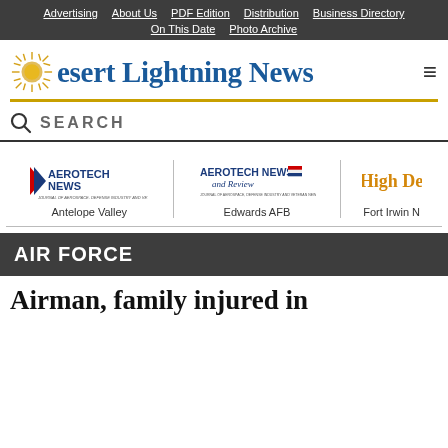Advertising | About Us | PDF Edition | Distribution | Business Directory | On This Date | Photo Archive
Desert Lightning News
SEARCH
[Figure (logo): Aerotech News logo - Antelope Valley edition]
[Figure (logo): Aerotech News and Review logo - Edwards AFB edition]
[Figure (logo): High Desert (partial) logo - Fort Irwin edition]
AIR FORCE
Airman, family injured in